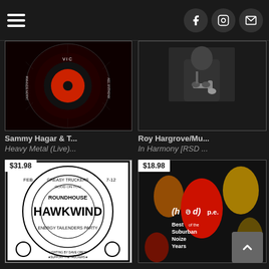Navigation menu and social icons (Facebook, Instagram, Mail)
[Figure (photo): Album art for Sammy Hagar - vinyl record style with red/black design showing 'VIC', 'JASON BONHAM', 'AEL ANTHONY']
Sammy Hagar & T...
Heavy Metal (Live)...
[Figure (photo): Album art for Roy Hargrove - black and white photo of a person holding a trumpet]
Roy Hargrove/Mu...
In Harmony [RSD ...
[Figure (photo): Album art for Hawkwind - black and white psychedelic concert poster for Roundhouse, Greasy Truckers Party, Energy Tailenders Party]
$31.98
[Figure (photo): Album art for (hed) p.e. - Best of the Suburban Noize Years, colorful illustration with red/yellow/gold figures]
$18.98